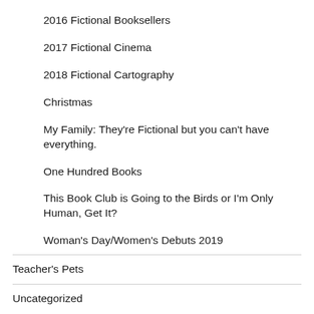2016 Fictional Booksellers
2017 Fictional Cinema
2018 Fictional Cartography
Christmas
My Family: They're Fictional but you can't have everything.
One Hundred Books
This Book Club is Going to the Birds or I'm Only Human, Get It?
Woman's Day/Women's Debuts 2019
Teacher's Pets
Uncategorized